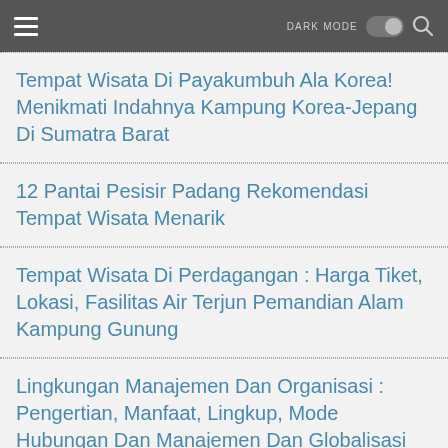DARK MODE [toggle]
Tempat Wisata Di Payakumbuh Ala Korea! Menikmati Indahnya Kampung Korea-Jepang Di Sumatra Barat
12 Pantai Pesisir Padang Rekomendasi Tempat Wisata Menarik
Tempat Wisata Di Perdagangan : Harga Tiket, Lokasi, Fasilitas Air Terjun Pemandian Alam Kampung Gunung
Lingkungan Manajemen Dan Organisasi : Pengertian, Manfaat, Lingkup, Mode Hubungan Dan Manajemen Dan Globalisasi
16+ Tempat Wisata Di Padang Panjang Instagramble Dan Hits Populer